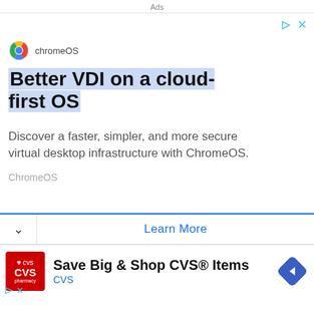Ads
[Figure (screenshot): ChromeOS advertisement with logo and headline 'Better VDI on a cloud-first OS']
Better VDI on a cloud-first OS
Discover a faster, simpler, and more secure virtual desktop infrastructure with ChromeOS.
ChromeOS
Learn More
[Figure (screenshot): CVS Pharmacy advertisement with red logo and text 'Save Big & Shop CVS® Items']
Save Big & Shop CVS® Items
CVS